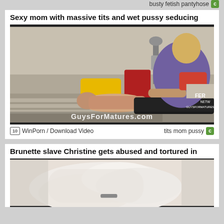busty fetish pantyhose
Sexy mom with massive tits and wet pussy seducing
[Figure (photo): Video thumbnail showing a massage scene with two people on a bed, watermark 'GuysForMatures.com']
WinPorn / Download Video    tits mom pussy
Brunette slave Christine gets abused and tortured in
[Figure (photo): Video thumbnail showing close-up of legs/feet in white stockings]